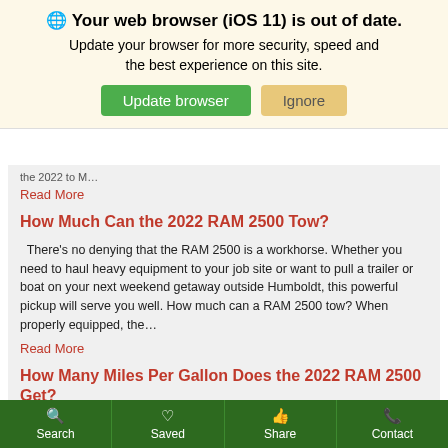🌐 Your web browser (iOS 11) is out of date. Update your browser for more security, speed and the best experience on this site.
Update browser | Ignore
the 2022 to M…
Read More
How Much Can the 2022 RAM 2500 Tow?
There's no denying that the RAM 2500 is a workhorse. Whether you need to haul heavy equipment to your job site or want to pull a trailer or boat on your next weekend getaway outside Humboldt, this powerful pickup will serve you well. How much can a RAM 2500 tow? When properly equipped, the...
Read More
How Many Miles Per Gallon Does the 2022 RAM 2500 Get?
Search  Saved  Share  Contact